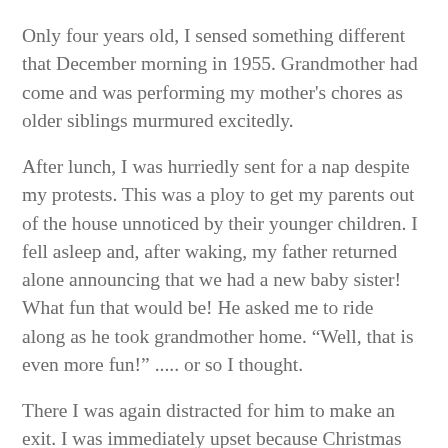Only four years old, I sensed something different that December morning in 1955. Grandmother had come and was performing my mother's chores as older siblings murmured excitedly.
After lunch, I was hurriedly sent for a nap despite my protests. This was a ploy to get my parents out of the house unnoticed by their younger children. I fell asleep and, after waking, my father returned alone announcing that we had a new baby sister! What fun that would be! He asked me to ride along as he took grandmother home. “Well, that is even more fun!” ..... or so I thought.
There I was again distracted for him to make an exit. I was immediately upset because Christmas was coming , and how would Santa find me at my grandparents? No amount of consoling helped. I didn’t care about that new baby sister. Each day I grew unhappier. Those are not my toys! That is not my bed! You are not my mom! Santa was